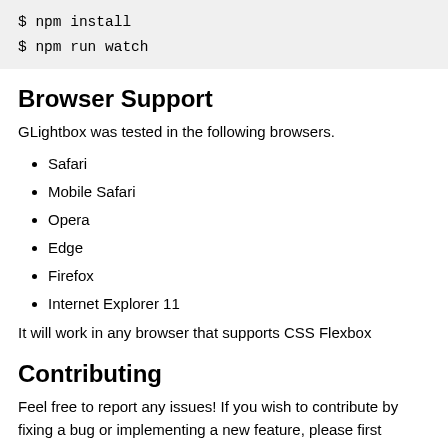$ npm install
$ npm run watch
Browser Support
GLightbox was tested in the following browsers.
Safari
Mobile Safari
Opera
Edge
Firefox
Internet Explorer 11
It will work in any browser that supports CSS Flexbox
Contributing
Feel free to report any issues! If you wish to contribute by fixing a bug or implementing a new feature, please first